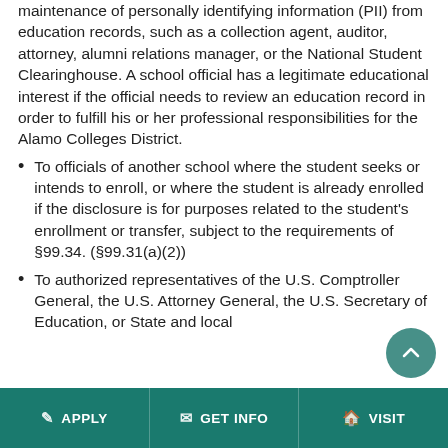maintenance of personally identifying information (PII) from education records, such as a collection agent, auditor, attorney, alumni relations manager, or the National Student Clearinghouse. A school official has a legitimate educational interest if the official needs to review an education record in order to fulfill his or her professional responsibilities for the Alamo Colleges District.
To officials of another school where the student seeks or intends to enroll, or where the student is already enrolled if the disclosure is for purposes related to the student's enrollment or transfer, subject to the requirements of §99.34. (§99.31(a)(2))
To authorized representatives of the U.S. Comptroller General, the U.S. Attorney General, the U.S. Secretary of Education, or State and local
APPLY   GET INFO   VISIT